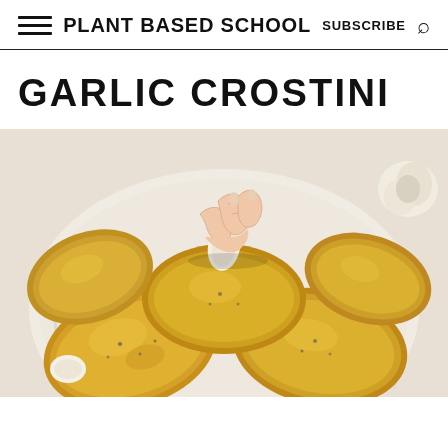PLANT BASED SCHOOL  SUBSCRIBE
GARLIC CROSTINI
[Figure (photo): A hand rubbing a garlic clove onto golden-brown toasted crostini slices arranged on a rustic white plate, with garlic cloves visible in the background.]